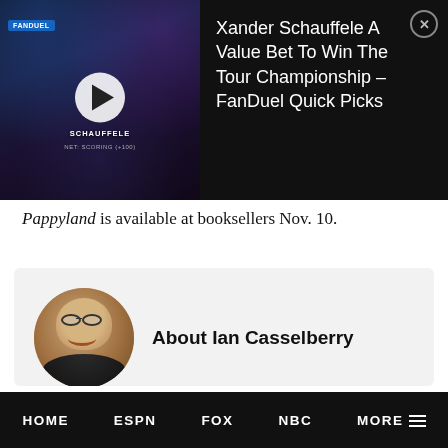[Figure (screenshot): Video ad banner showing a golfer (Xander Schauffele) with a play button overlay on the left, and ad title text on the right on a dark background with a close button]
Pappyland is available at booksellers Nov. 10.
About Ian Casselberry
Ian is a writer, editor, and podcaster. You can find his work at Awful Announcing and The Comeback. He's written for Sports Illustrated, Yahoo Sports, MLive, Bleacher Report, and SB
HOME   ESPN   FOX   NBC   MORE